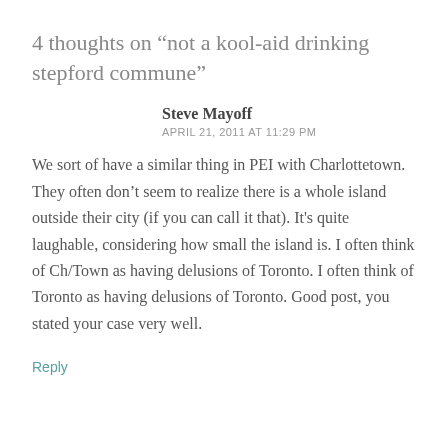4 thoughts on “not a kool-aid drinking stepford commune”
Steve Mayoff
APRIL 21, 2011 AT 11:29 PM
We sort of have a similar thing in PEI with Charlottetown. They often don’t seem to realize there is a whole island outside their city (if you can call it that). It's quite laughable, considering how small the island is. I often think of Ch/Town as having delusions of Toronto. I often think of Toronto as having delusions of Toronto. Good post, you stated your case very well.
Reply